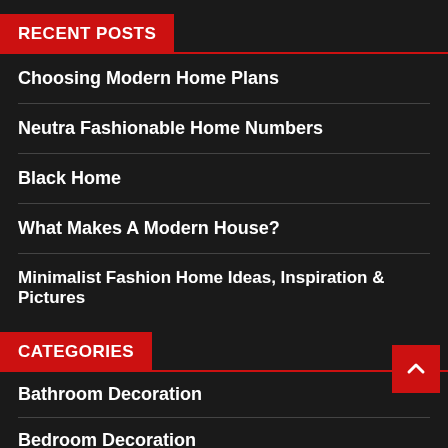RECENT POSTS
Choosing Modern Home Plans
Neutra Fashionable Home Numbers
Black Home
What Makes A Modern House?
Minimalist Fashion Home Ideas, Inspiration & Pictures
CATEGORIES
Bathroom Decoration
Bedroom Decoration
Home Improvement
House Design